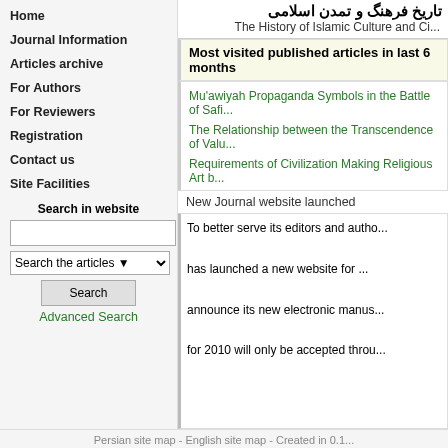Home
Journal Information
Articles archive
For Authors
For Reviewers
Registration
Contact us
Site Facilities
Search in website
تاریخ فرهنگ و تمدن اسلامی
The History of Islamic Culture and Ci...
Most visited published articles in last 6 months
Mu'awiyah Propaganda Symbols in the Battle of Safi...
The Relationship between the Transcendence of Valu...
Requirements of Civilization Making Religious Art b...
New Journal website launched
To better serve its editors and autho... has launched a new website for ... announce its new electronic manus... for 2010 will only be accepted throu...
Persian site map - English site map - Created in 0.1...